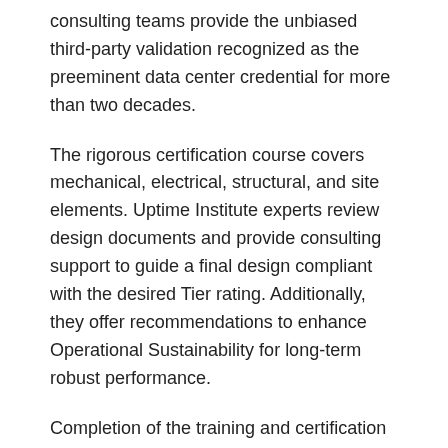consulting teams provide the unbiased third-party validation recognized as the preeminent data center credential for more than two decades.
The rigorous certification course covers mechanical, electrical, structural, and site elements. Uptime Institute experts review design documents and provide consulting support to guide a final design compliant with the desired Tier rating. Additionally, they offer recommendations to enhance Operational Sustainability for long-term robust performance.
Completion of the training and certification program required significant time, dedication, and effort. Due to his extensive expertise and diligence, Pete was able to pass the accreditation exam with flying colors.
““